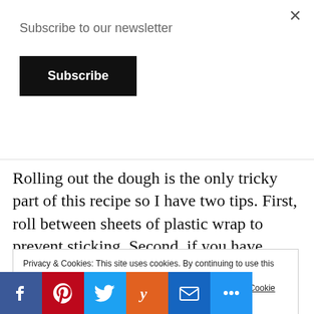Subscribe to our newsletter
Subscribe
×
Rolling out the dough is the only tricky part of this recipe so I have two tips. First, roll between sheets of plastic wrap to prevent sticking. Second, if you have them, use rolling pin rings.  Rolling pin rings are plastic or silicone rings that fit onto the ends of your rolling pin and help you roll out dough evenly and to a
Privacy & Cookies: This site uses cookies. By continuing to use this website, you agree to their use.
To find out more, including how to control cookies, see here: Cookie Policy
Close and accept